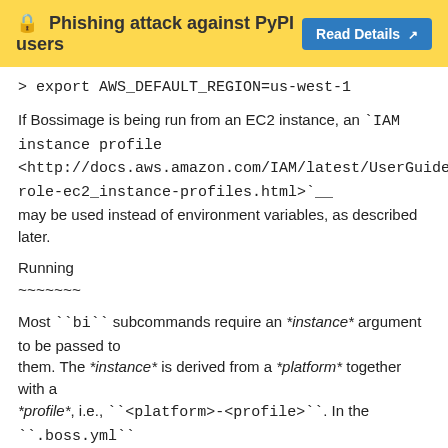🔒 Phishing attack against PyPI users  Read Details ↗
> export AWS_DEFAULT_REGION=us-west-1
If Bossimage is being run from an EC2 instance, an `IAM instance profile <http://docs.aws.amazon.com/IAM/latest/UserGuide/id_roles_use_switch-role-ec2_instance-profiles.html>`__ may be used instead of environment variables, as described later.
Running
~~~~~~~
Most ``bi`` subcommands require an *instance* argument to be passed to them. The *instance* is derived from a *platform* together with a *profile*, i.e., ``<platform>-<profile>``. In the ``.boss.yml`` configuration shown above, a single platform is defined with name